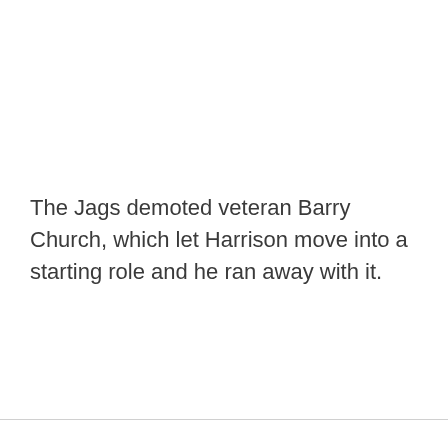The Jags demoted veteran Barry Church, which let Harrison move into a starting role and he ran away with it.